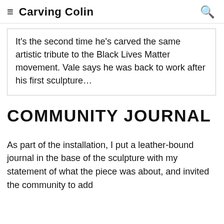≡  Carving Colin  🔍
It's the second time he's carved the same artistic tribute to the Black Lives Matter movement. Vale says he was back to work after his first sculpture...
COMMUNITY JOURNAL
As part of the installation, I put a leather-bound journal in the base of the sculpture with my statement of what the piece was about, and invited the community to add